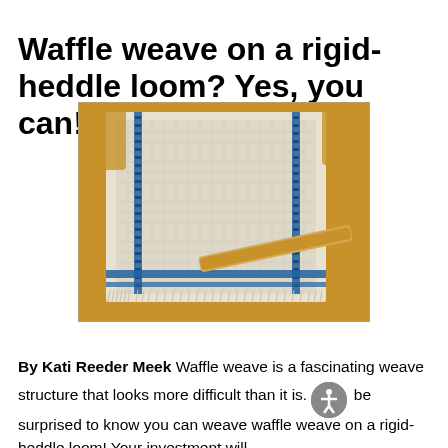Waffle weave on a rigid-heddle loom? Yes, you can!
[Figure (photo): A white waffle-weave fabric with blue stripe accents photographed on a wooden loom or board, with a wooden shuttle visible. The textile shows a characteristic waffle/honeycomb texture.]
By Kati Reeder Meek Waffle weave is a fascinating weave structure that looks more difficult than it is. [accessibility icon] be surprised to know you can weave waffle weave on a rigid-heddle loom! Your investment will